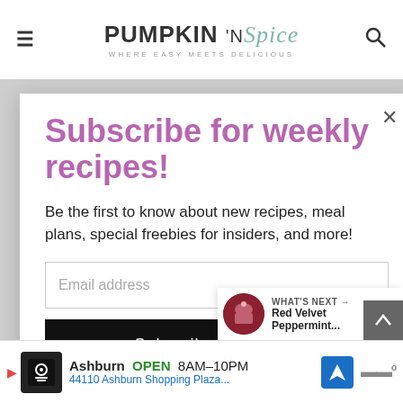PUMPKIN 'N Spice — WHERE EASY MEETS DELICIOUS
Subscribe for weekly recipes!
Be the first to know about new recipes, meal plans, special freebies for insiders, and more!
Email address
Subscribe
2.9K
WHAT'S NEXT → Red Velvet Peppermint...
Ashburn OPEN 8AM–10PM 44110 Ashburn Shopping Plaza...